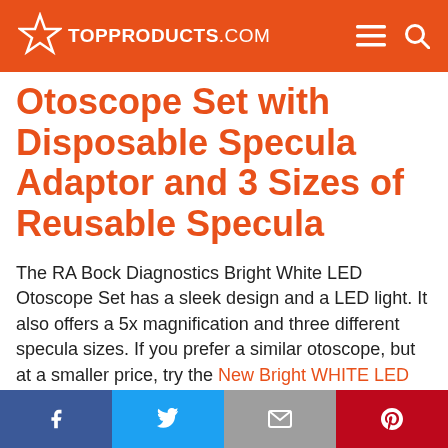TOPPRODUCTS.COM
Otoscope Set with Disposable Specula Adaptor and 3 Sizes of Reusable Specula
The RA Bock Diagnostics Bright White LED Otoscope Set has a sleek design and a LED light. It also offers a 5x magnification and three different specula sizes. If you prefer a similar otoscope, but at a smaller price, try the New Bright WHITE LED Professional
Facebook Twitter Email Pinterest